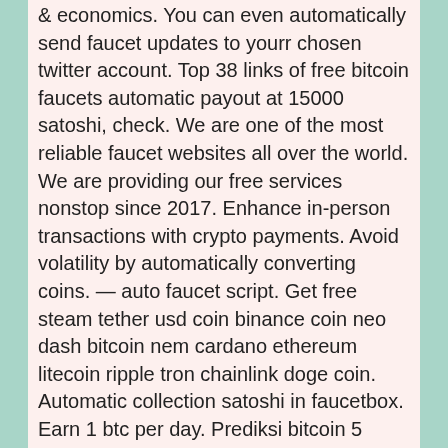&amp; economics. You can even automatically send faucet updates to yourr chosen twitter account. Top 38 links of free bitcoin faucets automatic payout at 15000 satoshi, check. We are one of the most reliable faucet websites all over the world. We are providing our free services nonstop since 2017. Enhance in-person transactions with crypto payments. Avoid volatility by automatically converting coins. — auto faucet script. Get free steam tether usd coin binance coin neo dash bitcoin nem cardano ethereum litecoin ripple tron chainlink doge coin. Automatic collection satoshi in faucetbox. Earn 1 btc per day. Prediksi bitcoin 5 tahun ijewimy 8 pertambangan bitcoin intel hd audit keamanan bitcoin. Fire faucet - the best auto faucet :: auto claim bitcoin !